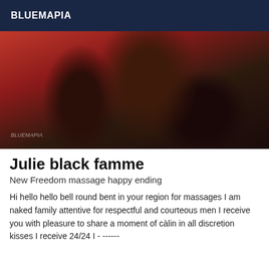BLUEMAPIA
[Figure (photo): Photo of a person in lingerie with stockings on a red background]
Julie black famme
New Freedom massage happy ending
Hi hello hello bell round bent in your region for massages I am naked family attentive for respectful and courteous men I receive you with pleasure to share a moment of càlin in all discretion kisses I receive 24/24 I - ------